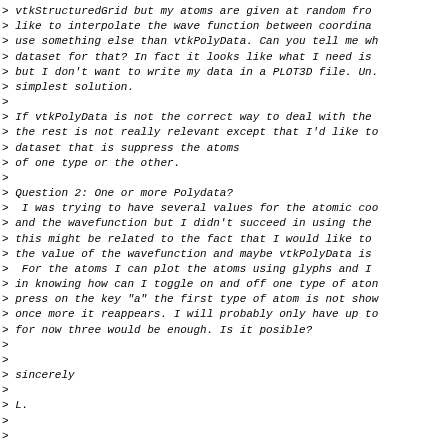> vtkStructuredGrid but my atoms are given at random fro
> like to interpolate the wave function between coordina
> use something else than vtkPolyData. Can you tell me wh
> dataset for that? In fact it looks like what I need is
> but I don't want to write my data in a PLOT3D file. Un.
> simplest solution.
>
> If vtkPolyData is not the correct way to deal with the
> the rest is not really relevant except that I'd like to
> dataset that is suppress the atoms
> of one type or the other.
>
> Question 2: One or more Polydata?
>  I was trying to have several values for the atomic coo
> and the wavefunction but I didn't succeed in using the
> this might be related to the fact that I would like to
> the value of the wavefunction and maybe vtkPolyData is
>  For the atoms I can plot the atoms using glyphs and I
> in knowing how can I toggle on and off one type of aton
> press on the key "a" the first type of atom is not show
> once more it reappears. I will probably only have up to
> for now three would be enough. Is it posible?
>
>
> sincerely
>
> L.
>
>
Powered by www.kitware.com